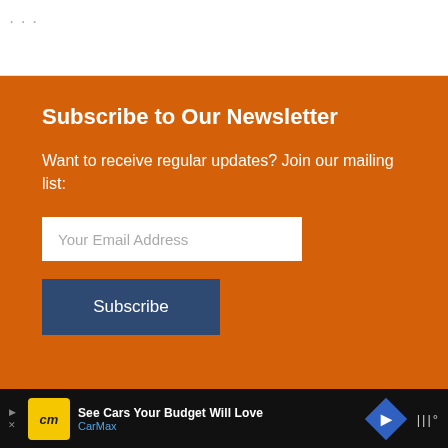Subscribe to Our Newsletter
Want to receive regular updates? Join our mailing list:
Your Email Address
Subscribe
See Cars Your Budget Will Love CarMax